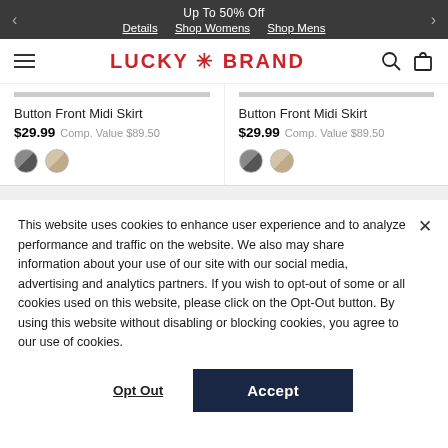Up To 50% Off | Details | Shop Womens | Shop Mens
[Figure (logo): Lucky Brand logo with hamburger menu, search and bag icons]
Button Front Midi Skirt
$29.99 Comp. Value $89.50
Button Front Midi Skirt
$29.99 Comp. Value $89.50
This website uses cookies to enhance user experience and to analyze performance and traffic on the website. We also may share information about your use of our site with our social media, advertising and analytics partners. If you wish to opt-out of some or all cookies used on this website, please click on the Opt-Out button. By using this website without disabling or blocking cookies, you agree to our use of cookies.
Opt Out
Accept